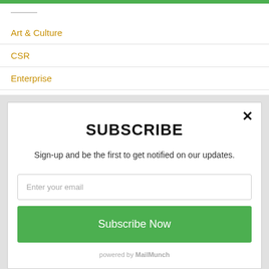Art & Culture
CSR
Enterprise
SUBSCRIBE
Sign-up and be the first to get notified on our updates.
Enter your email
Subscribe Now
powered by MailMunch